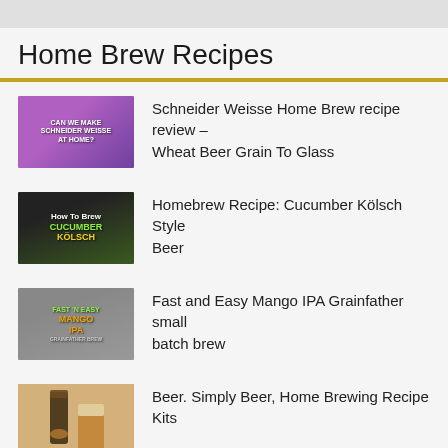Home Brew Recipes
Schneider Weisse Home Brew recipe review – Wheat Beer Grain To Glass
Homebrew Recipe: Cucumber Kölsch Style Beer
Fast and Easy Mango IPA Grainfather small batch brew
Beer. Simply Beer, Home Brewing Recipe Kits